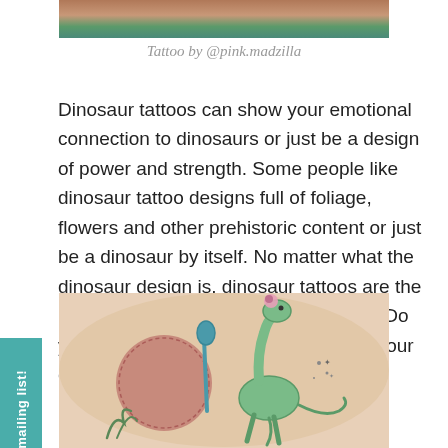[Figure (photo): Top portion of a colorful tattoo image, partially cropped]
Tattoo by @pink.madzilla
Dinosaur tattoos can show your emotional connection to dinosaurs or just be a design of power and strength. Some people like dinosaur tattoo designs full of foliage, flowers and other prehistoric content or just be a dinosaur by itself. No matter what the dinosaur design is, dinosaur tattoos are the best way to mark your body with style! Do you have a dinosaur tattoo? Show off your dinosaur tattoo ideas on Facebook and Instagram!
[Figure (photo): Colorful dinosaur tattoo on skin showing a cartoon-style long-neck dinosaur with flowers, a spoon, and decorative elements]